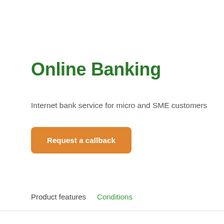Online Banking
Internet bank service for micro and SME customers
Request a callback
Product features
Conditions